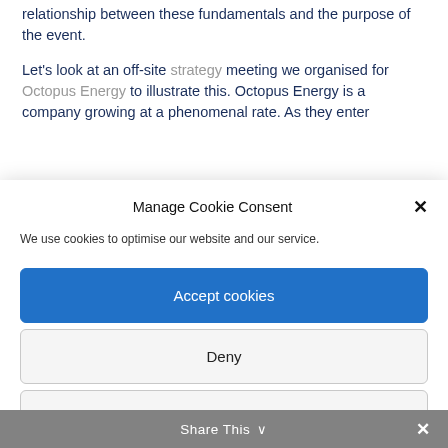relationship between these fundamentals and the purpose of the event.
Let's look at an off-site strategy meeting we organised for Octopus Energy to illustrate this. Octopus Energy is a company growing at a phenomenal rate. As they enter
Manage Cookie Consent
We use cookies to optimise our website and our service.
Accept cookies
Deny
View preferences
Share This ∨ ✕